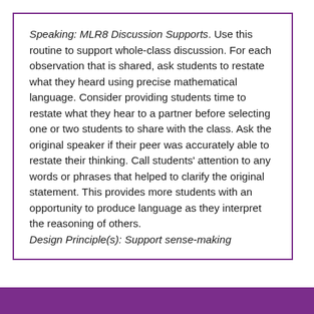Speaking: MLR8 Discussion Supports. Use this routine to support whole-class discussion. For each observation that is shared, ask students to restate what they heard using precise mathematical language. Consider providing students time to restate what they hear to a partner before selecting one or two students to share with the class. Ask the original speaker if their peer was accurately able to restate their thinking. Call students' attention to any words or phrases that helped to clarify the original statement. This provides more students with an opportunity to produce language as they interpret the reasoning of others.
Design Principle(s): Support sense-making